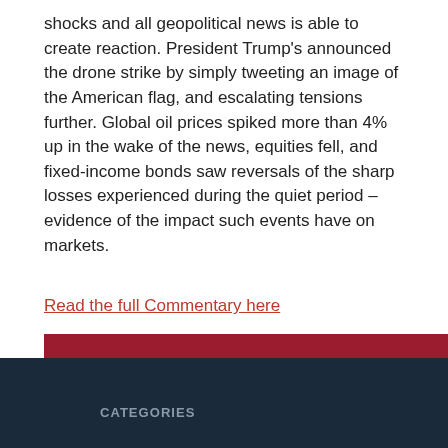shocks and all geopolitical news is able to create reaction. President Trump's announced the drone strike by simply tweeting an image of the American flag, and escalating tensions further. Global oil prices spiked more than 4% up in the wake of the news, equities fell, and fixed-income bonds saw reversals of the sharp losses experienced during the quiet period – evidence of the impact such events have on markets.
Read the full Commentary here
BACK TO NEWS ARCHIVE
CATEGORIES